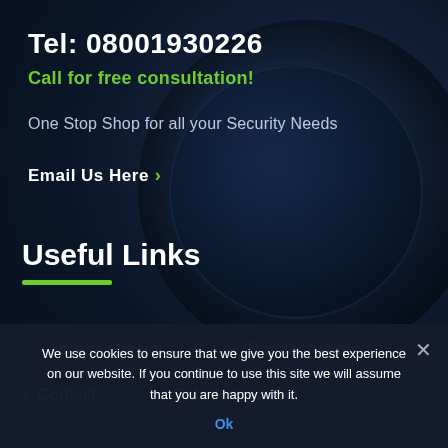Tel: 08001930226
Call for free consultation!
One Stop Shop for all your Security Needs
Email Us Here >
Useful Links
→ Access Control
→ Burglar Alarms
→ Contact
→ Gate Automation
We use cookies to ensure that we give you the best experience on our website. If you continue to use this site we will assume that you are happy with it.
Ok